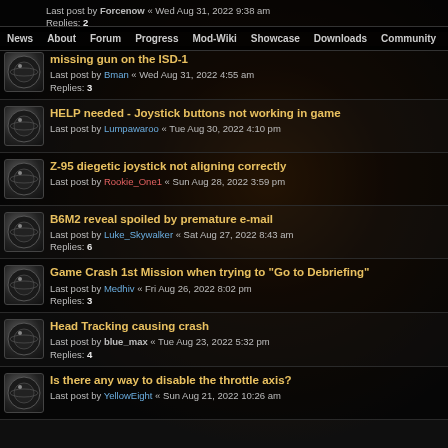Last post by Forcenow « Wed Aug 31, 2022 9:38 am
Replies: 2
News | About | Forum | Progress | Mod-Wiki | Showcase | Downloads | Community
missing gun on the ISD-1
Last post by Bman « Wed Aug 31, 2022 4:55 am
Replies: 3
HELP needed - Joystick buttons not working in game
Last post by Lumpawaroo « Tue Aug 30, 2022 4:10 pm
Z-95 diegetic joystick not aligning correctly
Last post by Rookie_One1 « Sun Aug 28, 2022 3:59 pm
B6M2 reveal spoiled by premature e-mail
Last post by Luke_Skywalker « Sat Aug 27, 2022 8:43 am
Replies: 6
Game Crash 1st Mission when trying to "Go to Debriefing"
Last post by Medhiv « Fri Aug 26, 2022 8:02 pm
Replies: 3
Head Tracking causing crash
Last post by blue_max « Tue Aug 23, 2022 5:32 pm
Replies: 4
Is there any way to disable the throttle axis?
Last post by YellowEight « Sun Aug 21, 2022 10:26 am